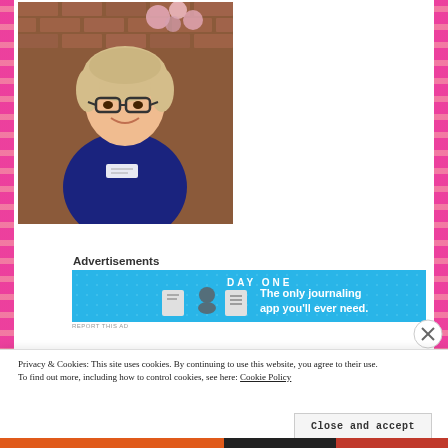[Figure (photo): A smiling older woman with blonde hair and glasses, wearing a dark navy blue top and a name badge, standing in front of a brick wall with flowers visible in the background.]
Advertisements
[Figure (screenshot): DAY ONE journaling app advertisement. Blue background with app icons and text reading 'The only journaling app you'll ever need.']
REPORT THIS AD
Privacy & Cookies: This site uses cookies. By continuing to use this website, you agree to their use.
To find out more, including how to control cookies, see here: Cookie Policy
Close and accept